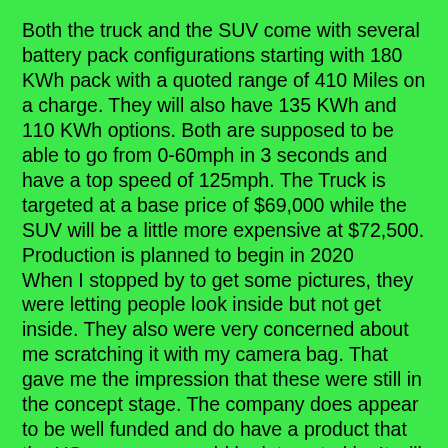Both the truck and the SUV come with several battery pack configurations starting with 180 KWh pack with a quoted range of 410 Miles on a charge. They will also have 135 KWh and 110 KWh options. Both are supposed to be able to go from 0-60mph in 3 seconds and have a top speed of 125mph. The Truck is targeted at a base price of $69,000 while the SUV will be a little more expensive at $72,500. Production is planned to begin in 2020
When I stopped by to get some pictures, they were letting people look inside but not get inside. They also were very concerned about me scratching it with my camera bag. That gave me the impression that these were still in the concept stage. The company does appear to be well funded and do have a product that the US consumer would be interested in. It will be interested to see if they can get into production on schedule.
Another company who announced on Tuesday ahead of the normal press conferences was Byton. Byton is a startup car company based in Silicon Valley but mostly funded by Chinese car company FAW Group. The M-Byte is a full-sized SUV that will come with a 71 KWh battery that is said to provide a range of 350 miles and